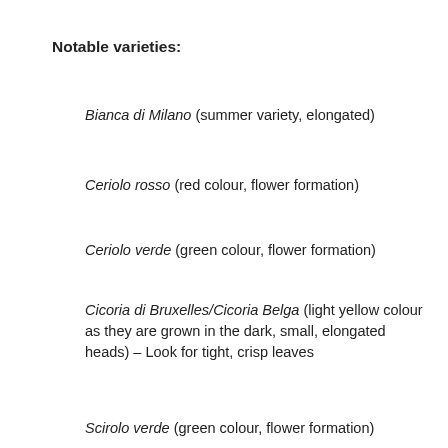Notable varieties:
Bianca di Milano (summer variety, elongated)
Ceriolo rosso (red colour, flower formation)
Ceriolo verde (green colour, flower formation)
Cicoria di Bruxelles/Cicoria Belga (light yellow colour as they are grown in the dark, small, elongated heads) – Look for tight, crisp leaves
Scirolo verde (green colour, flower formation)